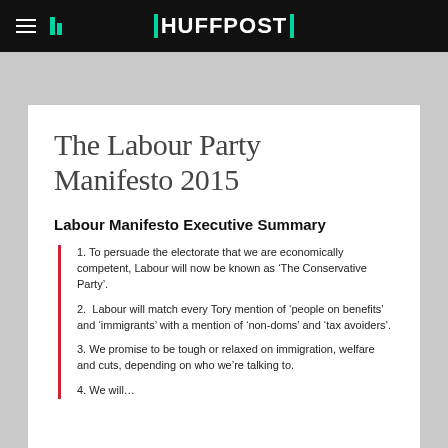HUFFPOST
The Labour Party Manifesto 2015
Labour Manifesto Executive Summary
1. To persuade the electorate that we are economically competent, Labour will now be known as ‘The Conservative Party’.
2.  Labour will match every Tory mention of ‘people on benefits’ and ‘immigrants’ with a mention of ‘non-doms’ and ‘tax avoiders’.
3. We promise to be tough or relaxed on immigration, welfare and cuts, depending on who we’re talking to.
4. We will…